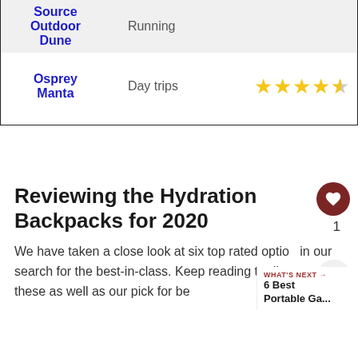| Product | Type | Rating |
| --- | --- | --- |
| Source Outdoor Dune | Running |  |
| Osprey Manta | Day trips | 4.5/5 stars |
Reviewing the Hydration Backpacks for 2020
We have taken a close look at six top rated options in our search for the best-in-class. Keep reading to discover these as well as our pick for be...